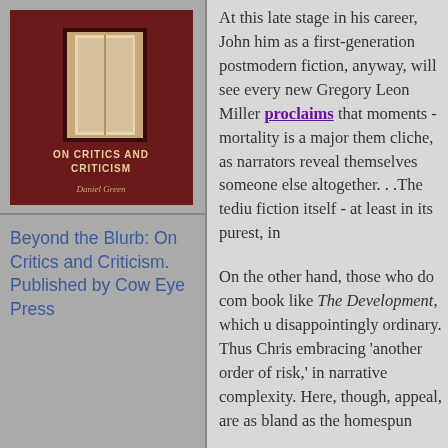[Figure (photo): Book cover for 'On Critics and Criticism' by Daniel Green, published by Cow Eye Press. Dark reddish-brown cover with white text.]
Beyond the Blurb: On Critics and Criticism. Published by Cow Eye Press
At this late stage in his career, John him as a first-generation postmodern fiction, anyway, will see every new Gregory Leon Miller proclaims that moments - mortality is a major them cliche, as narrators reveal themselves someone else altogether. . .The tediu fiction itself - at least in its purest, in
On the other hand, those who do com book like The Development, which u disappointingly ordinary. Thus Chris embracing 'another order of risk,' in narrative complexity. Here, though, appeal, are as bland as the homespun
Although I am more inclined to agre modest addition to [Barth's] oeuvre, Maryland's Eastern Shore that is the comparison to Keillor-type sentimen